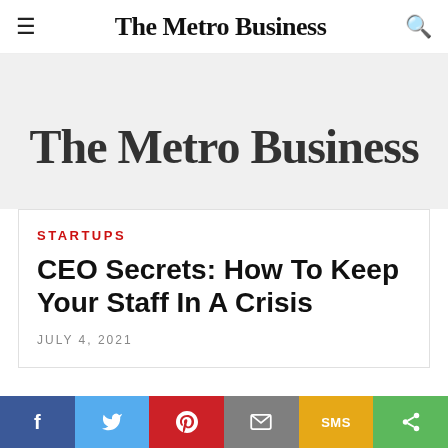The Metro Business
[Figure (screenshot): Banner image showing 'The Metro Business' newspaper logo in bold serif font on a light grey background]
STARTUPS
CEO Secrets: How To Keep Your Staff In A Crisis
JULY 4, 2021
[Figure (photo): Partially visible content area below the article card, grey background]
Social share bar: Facebook, Twitter, Pinterest, Email, SMS, Share